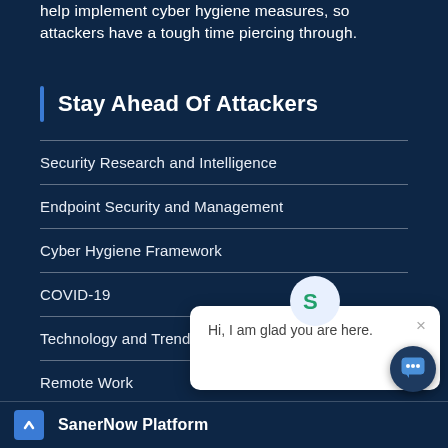help implement cyber hygiene measures, so attackers have a tough time piercing through.
Stay Ahead Of Attackers
Security Research and Intelligence
Endpoint Security and Management
Cyber Hygiene Framework
COVID-19
Technology and Trends
Remote Work
Security Automation
[Figure (screenshot): Chat widget popup with SanerNow logo and message: Hi, I am glad you are here.]
SanerNow Platform